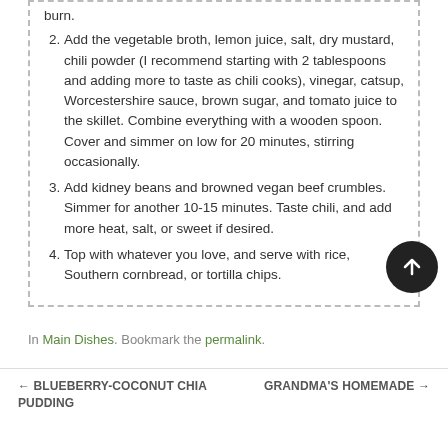burn.
Add the vegetable broth, lemon juice, salt, dry mustard, chili powder (I recommend starting with 2 tablespoons and adding more to taste as chili cooks), vinegar, catsup, Worcestershire sauce, brown sugar, and tomato juice to the skillet. Combine everything with a wooden spoon. Cover and simmer on low for 20 minutes, stirring occasionally.
Add kidney beans and browned vegan beef crumbles. Simmer for another 10-15 minutes. Taste chili, and add more heat, salt, or sweet if desired.
Top with whatever you love, and serve with rice, Southern cornbread, or tortilla chips.
In Main Dishes. Bookmark the permalink.
← BLUEBERRY-COCONUT CHIA PUDDING     GRANDMA'S HOMEMADE … UP →